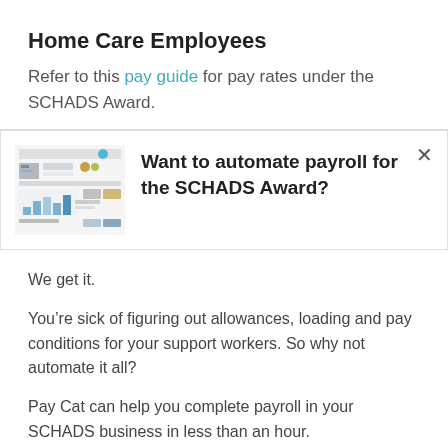Home Care Employees
Refer to this pay guide for pay rates under the SCHADS Award.
[Figure (screenshot): Screenshot thumbnail of a payroll/pay rates document or software interface]
Want to automate payroll for the SCHADS Award?
We get it.
You're sick of figuring out allowances, loading and pay conditions for your support workers. So why not automate it all?
Pay Cat can help you complete payroll in your SCHADS business in less than an hour.
We…